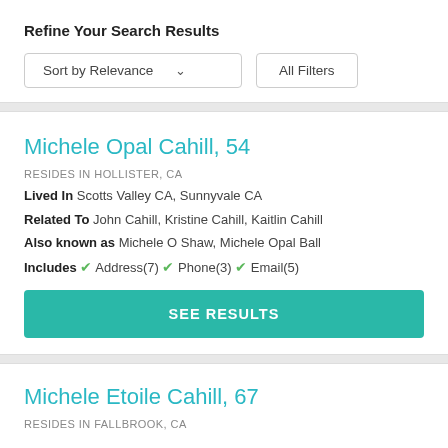Refine Your Search Results
Sort by Relevance   ∨   All Filters
Michele Opal Cahill, 54
RESIDES IN HOLLISTER, CA
Lived In  Scotts Valley CA, Sunnyvale CA
Related To  John Cahill, Kristine Cahill, Kaitlin Cahill
Also known as  Michele O Shaw, Michele Opal Ball
Includes ✓ Address(7) ✓ Phone(3) ✓ Email(5)
SEE RESULTS
Michele Etoile Cahill, 67
RESIDES IN FALLBROOK, CA